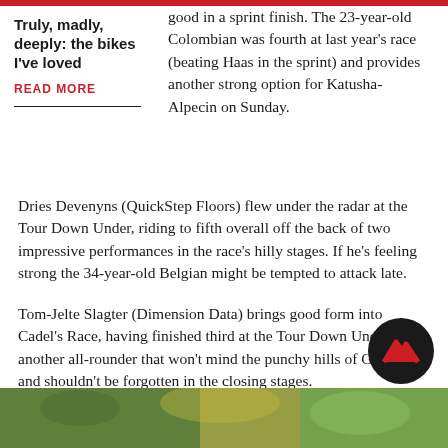Truly, madly, deeply: the bikes I've loved
READ MORE
good in a sprint finish. The 23-year-old Colombian was fourth at last year's race (beating Haas in the sprint) and provides another strong option for Katusha-Alpecin on Sunday.
Dries Devenyns (QuickStep Floors) flew under the radar at the Tour Down Under, riding to fifth overall off the back of two impressive performances in the race's hilly stages. If he's feeling strong the 34-year-old Belgian might be tempted to attack late.
Tom-Jelte Slagter (Dimension Data) brings good form into Cadel's Race, having finished third at the Tour Down Under. He's another all-rounder that won't mind the punchy hills of Geelong and shouldn't be forgotten in the closing stages.
[Figure (logo): Circular logo with black background and red mountain/chevron symbol]
[Figure (photo): Bottom portion showing outdoor scene with green foliage]